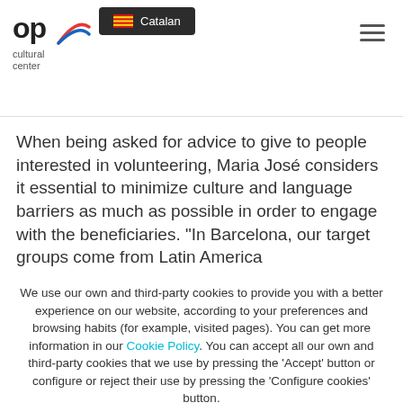op cultural center — Catalan (language selector dropdown)
When being asked for advice to give to people interested in volunteering, Maria José considers it essential to minimize culture and language barriers as much as possible in order to engage with the beneficiaries. "In Barcelona, our target groups come from Latin America
We use our own and third-party cookies to provide you with a better experience on our website, according to your preferences and browsing habits (for example, visited pages). You can get more information in our Cookie Policy. You can accept all our own and third-party cookies that we use by pressing the 'Accept' button or configure or reject their use by pressing the 'Configure cookies' button.
Accept all cookies | Configure cookies